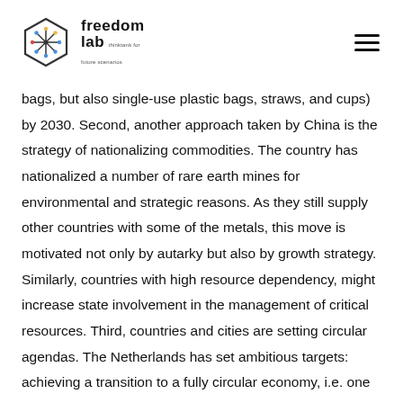freedom lab
bags, but also single-use plastic bags, straws, and cups) by 2030. Second, another approach taken by China is the strategy of nationalizing commodities. The country has nationalized a number of rare earth mines for environmental and strategic reasons. As they still supply other countries with some of the metals, this move is motivated not only by autarky but also by growth strategy. Similarly, countries with high resource dependency, might increase state involvement in the management of critical resources. Third, countries and cities are setting circular agendas. The Netherlands has set ambitious targets: achieving a transition to a fully circular economy, i.e. one in which 100% of resources are reused by 2050 and the use